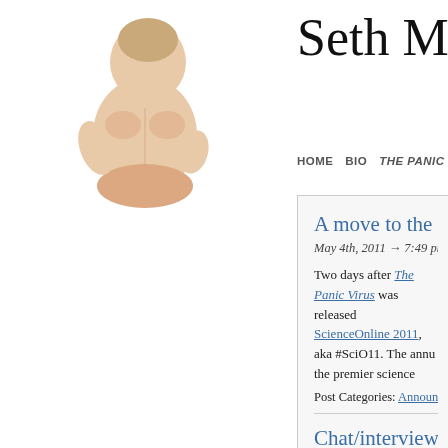[Figure (photo): Baby sitting with back to camera, no clothing, white background]
Seth Mnoo...
HOME   BIO   THE PANIC VIRUS   APPEARANC...
A move to the PLoS blog netw...
May 4th, 2011 → 7:49 pm @ Seth Mnookin
Two days after The Panic Virus was released... ScienceOnline 2011, aka #SciO11. The annu... the premier science journalism events in the... Zuiker — and it's no exaggeration to say tha... Ivan Oransky, for lighting a fire under my ass...
Post Categories: Announcements & Houseke...
Chat/interview/podcast roundi...
January 18th, 2011 → 11:01 pm @ Seth Mn...